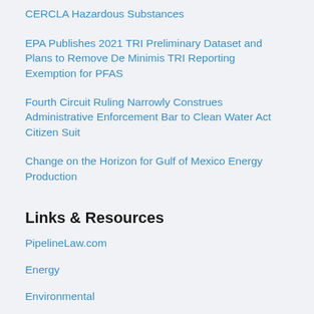CERCLA Hazardous Substances
EPA Publishes 2021 TRI Preliminary Dataset and Plans to Remove De Minimis TRI Reporting Exemption for PFAS
Fourth Circuit Ruling Narrowly Construes Administrative Enforcement Bar to Clean Water Act Citizen Suit
Change on the Horizon for Gulf of Mexico Energy Production
Links & Resources
PipelineLaw.com
Energy
Environmental
Environmental Compliance, Litigation & Defense